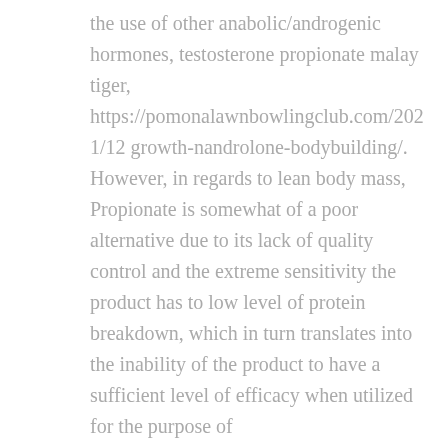the use of other anabolic/androgenic hormones, testosterone propionate malay tiger, https://pomonalawnbowlingclub.com/2021/12/growth-nandrolone-bodybuilding/. However, in regards to lean body mass, Propionate is somewhat of a poor alternative due to its lack of quality control and the extreme sensitivity the product has to low level of protein breakdown, which in turn translates into the inability of the product to have a sufficient level of efficacy when utilized for the purpose of